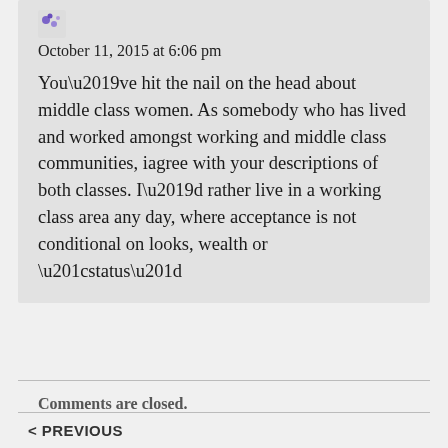October 11, 2015 at 6:06 pm
You’ve hit the nail on the head about middle class women. As somebody who has lived and worked amongst working and middle class communities, iagree with your descriptions of both classes. I’d rather live in a working class area any day, where acceptance is not conditional on looks, wealth or “status”
Comments are closed.
< PREVIOUS